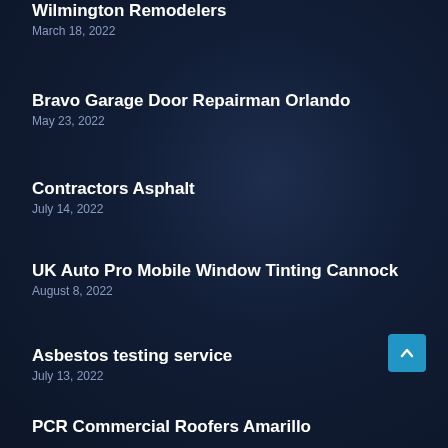Wilmington Remodelers
March 18, 2022
Bravo Garage Door Repairman Orlando
May 23, 2022
Contractors Asphalt
July 14, 2022
UK Auto Pro Mobile Window Tinting Cannock
August 8, 2022
Asbestos testing service
July 13, 2022
PCR Commercial Roofers Amarillo